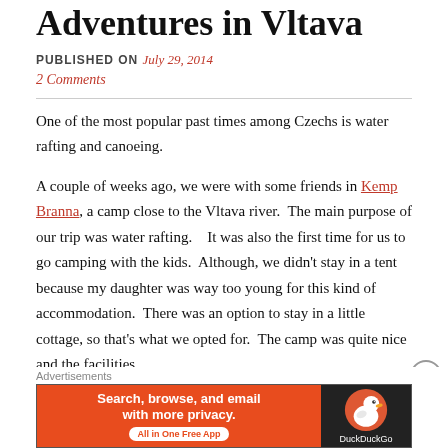Adventures in Vltava
PUBLISHED ON July 29, 2014
2 Comments
One of the most popular past times among Czechs is water rafting and canoeing.
A couple of weeks ago, we were with some friends in Kemp Branna, a camp close to the Vltava river.  The main purpose of our trip was water rafting.   It was also the first time for us to go camping with the kids.  Although, we didn't stay in a tent because my daughter was way too young for this kind of accommodation.  There was an option to stay in a little cottage, so that's what we opted for.  The camp was quite nice and the facilities...
[Figure (infographic): DuckDuckGo advertisement banner: orange left panel with text 'Search, browse, and email with more privacy. All in One Free App' and dark right panel with DuckDuckGo duck logo and brand name.]